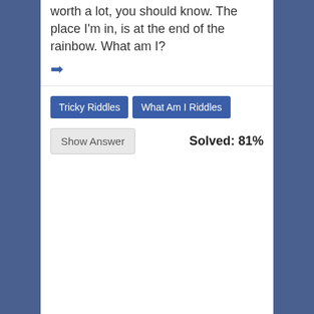worth a lot, you should know. The place I'm in, is at the end of the rainbow. What am I? ➡
Tricky Riddles
What Am I Riddles
Show Answer
Solved: 81%